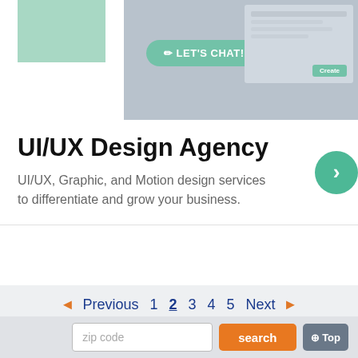[Figure (screenshot): Screenshot of a UI/UX design agency website showing a green box, a 'LET'S CHAT!' button, and a mock UI card on the right side]
UI/UX Design Agency
UI/UX, Graphic, and Motion design services to differentiate and grow your business.
Previous  1  2  3  4  5  Next
Try A New Search
Select Make
All Models
Max Price
zip code
search
Top